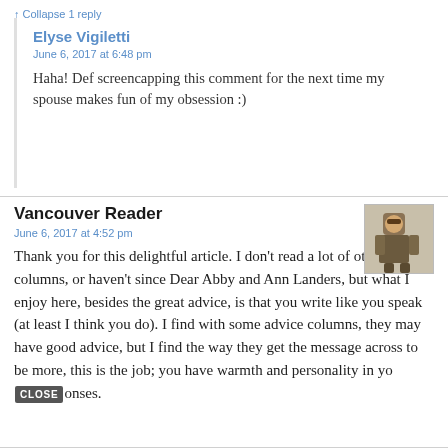↑ Collapse 1 reply
Elyse Vigiletti
June 6, 2017 at 6:48 pm
Haha! Def screencapping this comment for the next time my spouse makes fun of my obsession :)
Vancouver Reader
June 6, 2017 at 4:52 pm
Thank you for this delightful article. I don't read a lot of other advice columns, or haven't since Dear Abby and Ann Landers, but what I enjoy here, besides the great advice, is that you write like you speak (at least I think you do). I find with some advice columns, they may have good advice, but I find the way they get the message across to be more, this is the job; you have warmth and personality in yo CLOSE onses.